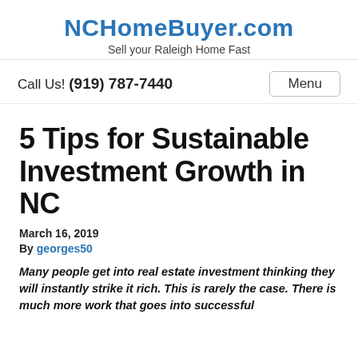NCHomeBuyer.com
Sell your Raleigh Home Fast
Call Us! (919) 787-7440
5 Tips for Sustainable Investment Growth in NC
March 16, 2019
By georges50
Many people get into real estate investment thinking they will instantly strike it rich. This is rarely the case. There is much more work that goes into successful